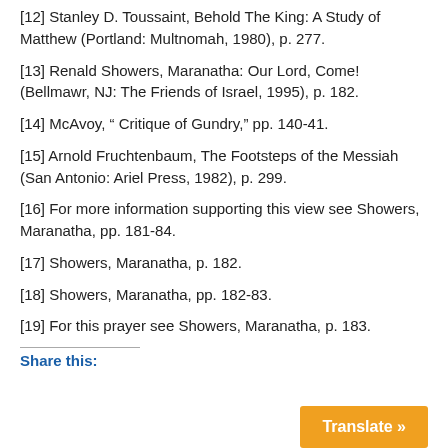[12] Stanley D. Toussaint, Behold The King: A Study of Matthew (Portland: Multnomah, 1980), p. 277.
[13] Renald Showers, Maranatha: Our Lord, Come! (Bellmawr, NJ: The Friends of Israel, 1995), p. 182.
[14] McAvoy, “ Critique of Gundry,” pp. 140-41.
[15] Arnold Fruchtenbaum, The Footsteps of the Messiah (San Antonio: Ariel Press, 1982), p. 299.
[16] For more information supporting this view see Showers, Maranatha, pp. 181-84.
[17] Showers, Maranatha, p. 182.
[18] Showers, Maranatha, pp. 182-83.
[19] For this prayer see Showers, Maranatha, p. 183.
Share this: